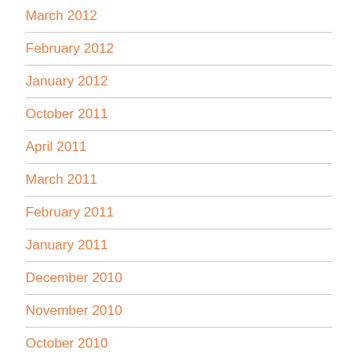March 2012
February 2012
January 2012
October 2011
April 2011
March 2011
February 2011
January 2011
December 2010
November 2010
October 2010